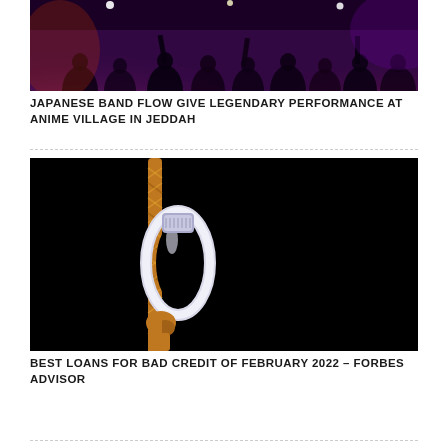[Figure (photo): Concert crowd photo showing people from behind with stage lights in purple and red tones]
JAPANESE BAND FLOW GIVE LEGENDARY PERFORMANCE AT ANIME VILLAGE IN JEDDAH
[Figure (photo): Carabiner clip on orange/gold rope against black background]
BEST LOANS FOR BAD CREDIT OF FEBRUARY 2022 – FORBES ADVISOR